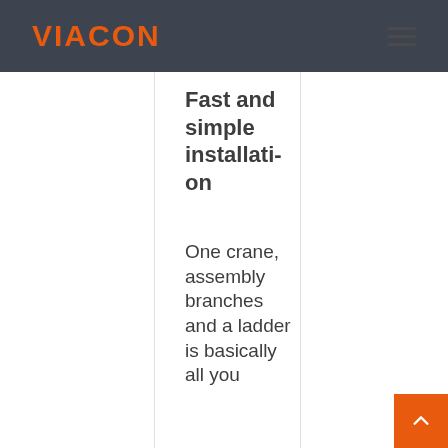VIACON
Fast and simple installation
One crane, assembly branches and a ladder is basically all you